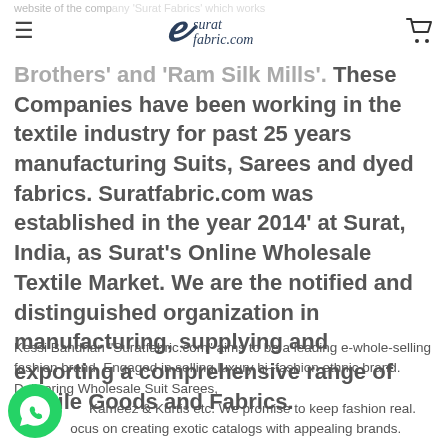suratfabric.com
website of the company 'Surat Fabrics' which works under the care of 'SP Creation', 'Ram Brothers' and 'Ram Silk Mills'. These Companies have been working in the textile industry for past 25 years manufacturing Suits, Sarees and dyed fabrics. Suratfabric.com was established in the year 2014' at Surat, India, as Surat's Online Wholesale Textile Market. We are the notified and distinguished organization in manufacturing, supplying and exporting a comprehensive range of Textile Goods and Fabrics.
Kessi Bandhan "Suratfabric.com" aims to be a leading e-whole-selling fashion brand. Engaged in selling luxury hi-fashion ethnic brand. Delivering Wholesale Suit Sarees, Kameez & Kurtis etc. We promise to keep fashion real. focus on creating exotic catalogs with appealing brands.